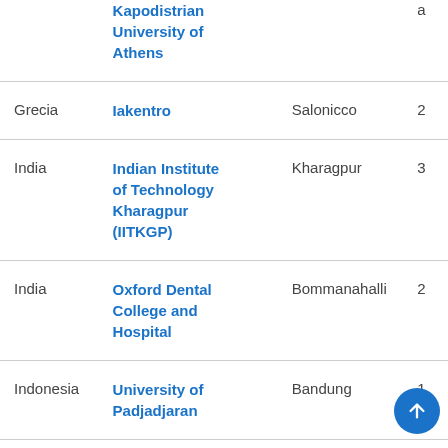| Country | Institution | City | # |
| --- | --- | --- | --- |
|  | Kapodistrian University of Athens |  | a |
| Grecia | Iakentro | Salonicco | 2 |
| India | Indian Institute of Technology Kharagpur (IITKGP) | Kharagpur | 3 |
| India | Oxford Dental College and Hospital | Bommanahalli | 2 |
| Indonesia | University of Padjadjaran | Bandung | 1 |